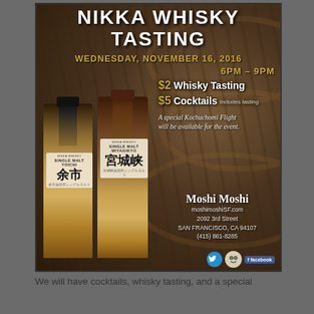[Figure (infographic): Nikka Whisky Tasting event flyer showing two bottles of Nikka Single Malt whisky (Yoichi and Miyagikyo) against a background of wooden barrels. Event details: Wednesday, November 16, 2016, 6pm-9pm. $2 Whisky Tasting, $5 Cocktails includes tasting. A special Kochuchomi Flight will be available for the event. Venue: Moshi Moshi, moshimoshiSF.com, 2092 3rd Street, San Francisco, CA 94107, (415) 861-8285.]
We will have cocktails, whisky tasting, and a special